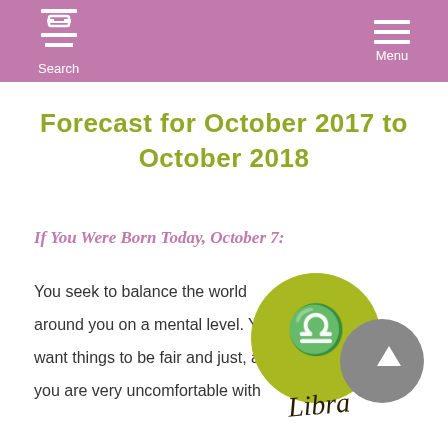Search  Menu
Forecast for October 2017 to October 2018
If You Were Born Today, October 7:
You seek to balance the world around you on a mental level. You want things to be fair and just, and you are very uncomfortable with
[Figure (illustration): Libra zodiac sign illustration: yellow-green circle with Libra symbol, overlapping grey circle, and cursive 'Libra' text below]